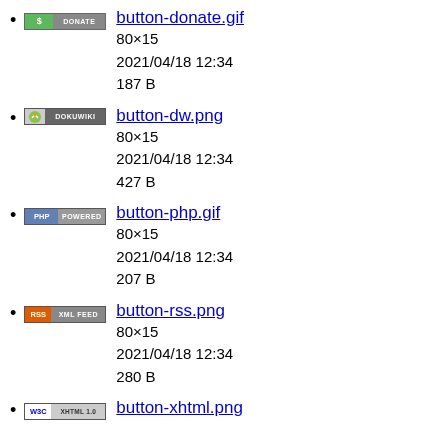button-donate.gif
80×15
2021/04/18 12:34
187 B
button-dw.png
80×15
2021/04/18 12:34
427 B
button-php.gif
80×15
2021/04/18 12:34
207 B
button-rss.png
80×15
2021/04/18 12:34
280 B
button-xhtml.png